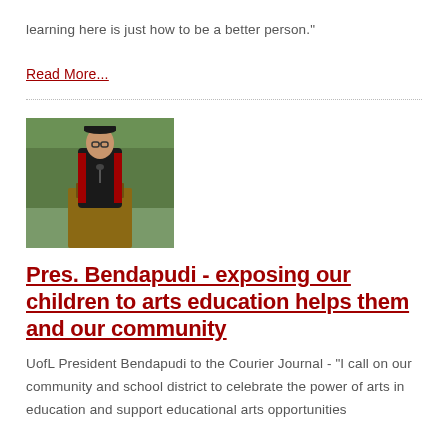learning here is just how to be a better person."
Read More...
[Figure (photo): Person wearing academic regalia (black gown with red stripes) and a graduation cap, standing at a podium outdoors with green trees in the background.]
Pres. Bendapudi - exposing our children to arts education helps them and our community
UofL President Bendapudi to the Courier Journal - "I call on our community and school district to celebrate the power of arts in education and support educational arts opportunities